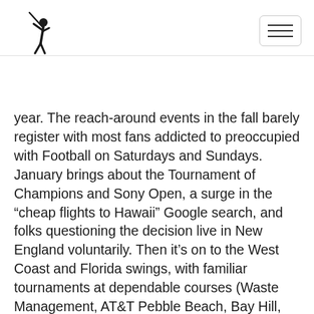[Golf website header with golfer silhouette logo and hamburger menu]
year. The reach-around events in the fall barely register with most fans addicted to preoccupied with Football on Saturdays and Sundays. January brings about the Tournament of Champions and Sony Open, a surge in the “cheap flights to Hawaii” Google search, and folks questioning the decision live in New England voluntarily. Then it’s on to the West Coast and Florida swings, with familiar tournaments at dependable courses (Waste Management, AT&T Pebble Beach, Bay Hill, etc.), after which, Nantz says hello, and the season is off and running.There are always a few shakeups (Austin CC hosting the Match Play went over well, Trump’s Doral involvement did not), but generally, Finchy & Co. haven’t rocked scheduling/sponsorship boat (remains to be seen if...